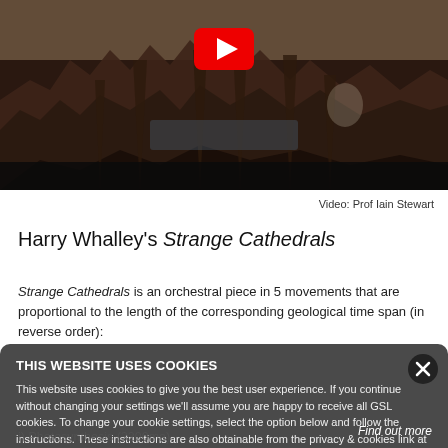[Figure (screenshot): Video thumbnail showing rocky coastal landscape from aerial perspective with YouTube play button overlay]
Video: Prof Iain Stewart
Harry Whalley's Strange Cathedrals
Strange Cathedrals is an orchestral piece in 5 movements that are proportional to the length of the corresponding geological time span (in reverse order):
THIS WEBSITE USES COOKIES

This website uses cookies to give you the best user experience. If you continue without changing your settings we'll assume you are happy to receive all GSL cookies. To change your cookie settings, select the option below and follow the instructions. These instructions are also obtainable from the privacy & cookies link at the bottom of any GSL page.

Find out more
i) Photosynthesis (3200ma)